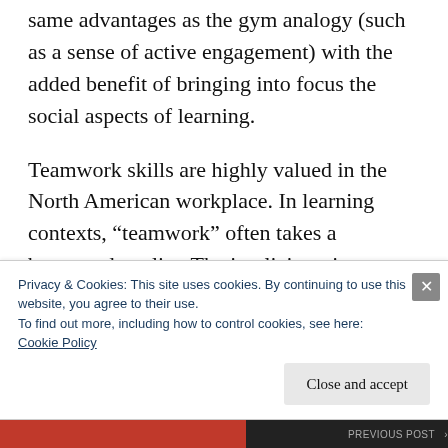same advantages as the gym analogy (such as a sense of active engagement) with the added benefit of bringing into focus the social aspects of learning.
Teamwork skills are highly valued in the North American workplace. In learning contexts, “teamwork” often takes a buzzword quality. The implicit notion seems to be that the natural tendency for individuals to work
Privacy & Cookies: This site uses cookies. By continuing to use this website, you agree to their use.
To find out more, including how to control cookies, see here:
Cookie Policy